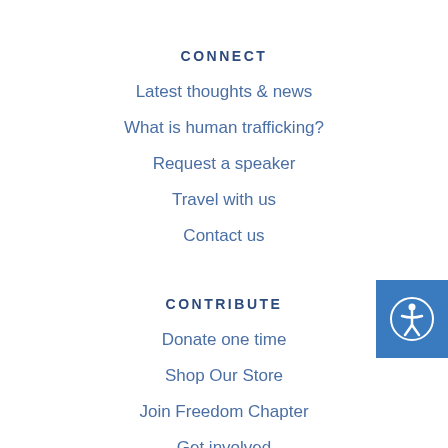CONNECT
Latest thoughts & news
What is human trafficking?
Request a speaker
Travel with us
Contact us
CONTRIBUTE
Donate one time
Shop Our Store
Join Freedom Chapter
Get involved
[Figure (illustration): Blue accessibility icon button on right side — person figure inside a circle on a blue square background]